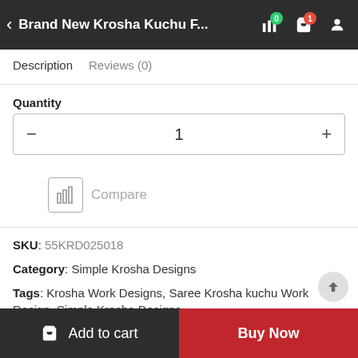Brand New Krosha Kuchu F...
Description   Reviews (0)
Quantity
1
[Figure (screenshot): Compare icon button with bar chart icon and text 'Compare']
SKU: 55KRD025018
Category: Simple Krosha Designs
Tags: Krosha Work Designs, Saree Krosha kuchu Work Design, Simple Krosha Designs
[Figure (screenshot): Social sharing buttons row: Facebook, Twitter, LinkedIn, VK, Pinterest, WhatsApp]
Add to cart   Buy Now